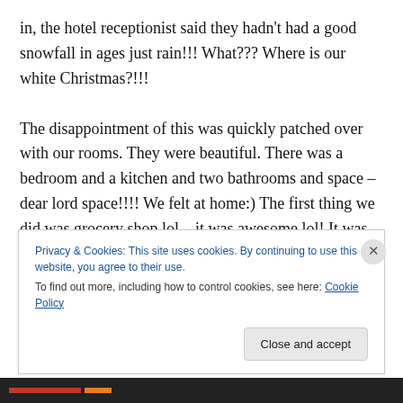in, the hotel receptionist said they hadn't had a good snowfall in ages just rain!!! What??? Where is our white Christmas?!!!

The disappointment of this was quickly patched over with our rooms. They were beautiful. There was a bedroom and a kitchen and two bathrooms and space – dear lord space!!!! We felt at home:) The first thing we did was grocery shop lol – it was awesome lol! It was so nice to cook and clean and not eat out!!!! When we got up the next morning, I loved getting the kids their cereal and
Privacy & Cookies: This site uses cookies. By continuing to use this website, you agree to their use.
To find out more, including how to control cookies, see here: Cookie Policy
Close and accept